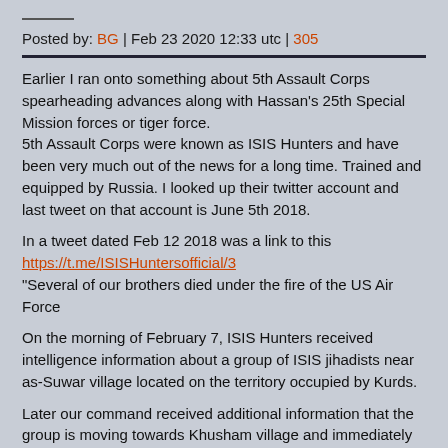Posted by: BG | Feb 23 2020 12:33 utc | 305
Earlier I ran onto something about 5th Assault Corps spearheading advances along with Hassan's 25th Special Mission forces or tiger force.
5th Assault Corps were known as ISIS Hunters and have been very much out of the news for a long time. Trained and equipped by Russia. I looked up their twitter account and last tweet on that account is June 5th 2018.

In a tweet dated Feb 12 2018 was a link to this https://t.me/ISISHuntersofficial/3
"Several of our brothers died under the fire of the US Air Force

On the morning of February 7, ISIS Hunters received intelligence information about a group of ISIS jihadists near as-Suwar village located on the territory occupied by Kurds.

Later our command received additional information that the group is moving towards Khusham village and immediately decided to move from the Euphrates and cut off the possible direction of jihadists offensive.